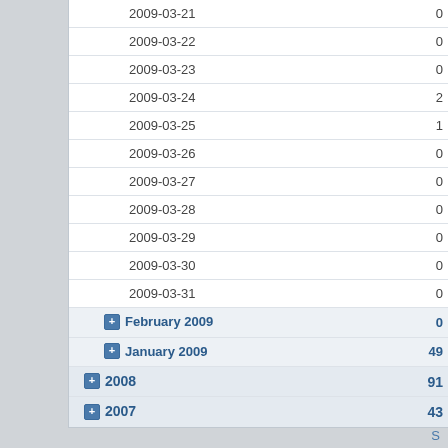| Date | Count |
| --- | --- |
| 2009-03-21 | 0 |
| 2009-03-22 | 0 |
| 2009-03-23 | 0 |
| 2009-03-24 | 2 |
| 2009-03-25 | 1 |
| 2009-03-26 | 0 |
| 2009-03-27 | 0 |
| 2009-03-28 | 0 |
| 2009-03-29 | 0 |
| 2009-03-30 | 0 |
| 2009-03-31 | 0 |
| February 2009 | 0 |
| January 2009 | 49 |
| 2008 | 91 |
| 2007 | 43 |
S